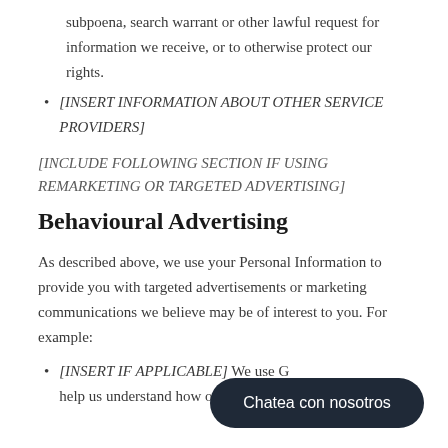subpoena, search warrant or other lawful request for information we receive, or to otherwise protect our rights.
[INSERT INFORMATION ABOUT OTHER SERVICE PROVIDERS]
[INCLUDE FOLLOWING SECTION IF USING REMARKETING OR TARGETED ADVERTISING]
Behavioural Advertising
As described above, we use your Personal Information to provide you with targeted advertisements or marketing communications we believe may be of interest to you. For example:
[INSERT IF APPLICABLE] We use G... help us understand how our customers use the Site.
[Figure (other): Chat widget overlay with text 'Chatea con nosotros']